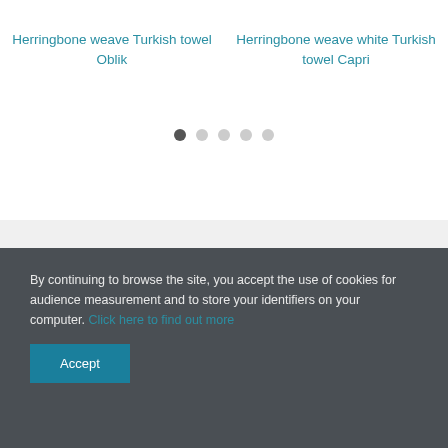Herringbone weave Turkish towel Oblik
Herringbone weave white Turkish towel Capri
[Figure (other): Carousel pagination dots — one filled dark dot followed by four lighter/empty dots]
By continuing to browse the site, you accept the use of cookies for audience measurement and to store your identifiers on your computer. Click here to find out more
Accept